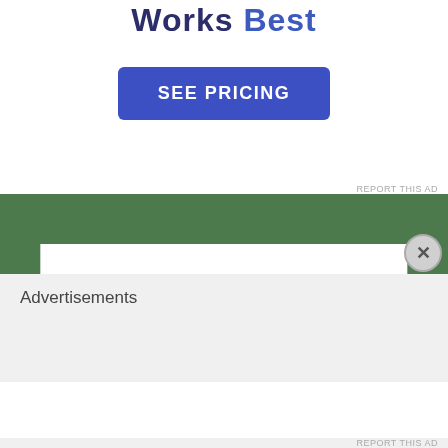Works Best
[Figure (other): A blue button labeled SEE PRICING]
REPORT THIS AD
[Figure (other): Green banner advertisement area with white inner box and X close button]
Advertisements
REPORT THIS AD